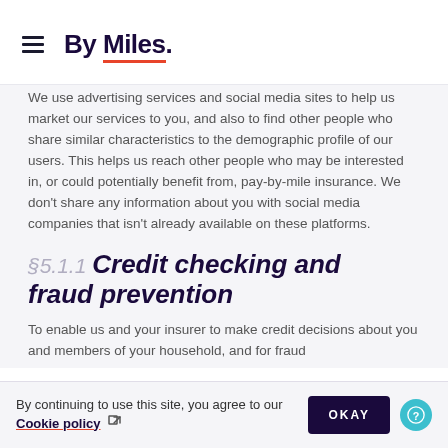By Miles.
We use advertising services and social media sites to help us market our services to you, and also to find other people who share similar characteristics to the demographic profile of our users. This helps us reach other people who may be interested in, or could potentially benefit from, pay-by-mile insurance. We don't share any information about you with social media companies that isn't already available on these platforms.
§5.1.1 Credit checking and fraud prevention
To enable us and your insurer to make credit decisions about you and members of your household, and for fraud...
By continuing to use this site, you agree to our Cookie policy OKAY